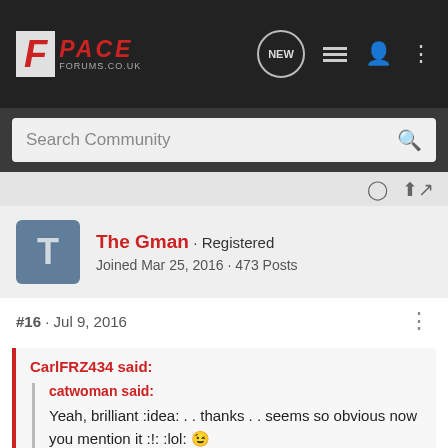[Figure (logo): FPace Forums logo with red F and PACE text on dark header bar with navigation icons]
Search Community
The Gman · Registered
Joined Mar 25, 2016 · 473 Posts
#16 · Jul 9, 2016
CarlFRZ434 said:
catwoman said:
Yeah, brilliant :idea: . . thanks . . seems so obvious now you mention it :!: :lol: 😉
:lol: Mud flaps protect the immediate wing and cill under the front doors but spray and road dirt gets sucked up the sides. So the step...
Click to expand